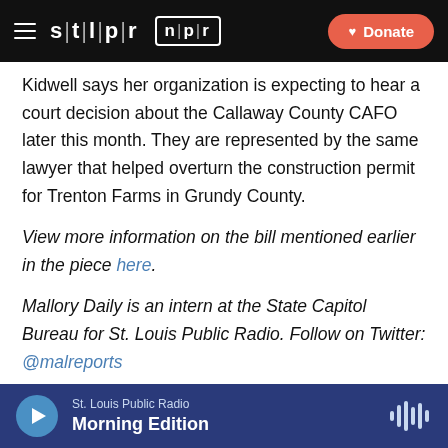stl|pr | npr | Donate
Kidwell says her organization is expecting to hear a court decision about the Callaway County CAFO later this month. They are represented by the same lawyer that helped overturn the construction permit for Trenton Farms in Grundy County.
View more information on the bill mentioned earlier in the piece here.
Mallory Daily is an intern at the State Capitol Bureau for St. Louis Public Radio. Follow on Twitter: @malreports
Tags  Government, Politics & Issues
St. Louis Public Radio  Morning Edition